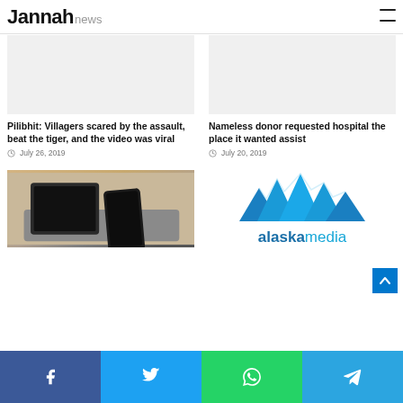Jannah news
Pilibhit: Villagers scared by the assault, beat the tiger, and the video was viral
July 26, 2019
Nameless donor requested hospital the place it wanted assist
July 20, 2019
[Figure (photo): Two smartphones (a tablet and a phone) resting on a grey fabric ottoman]
[Figure (logo): Alaska Media logo — blue mountain peaks graphic above teal/blue 'alaskamedia' wordmark]